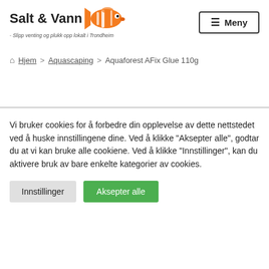[Figure (logo): Salt & Vann logo with clownfish and tagline '- Slipp venting og plukk opp lokalt i Trondheim']
≡ Meny
⌂ Hjem > Aquascaping > Aquaforest AFix Glue 110g
Vi bruker cookies for å forbedre din opplevelse av dette nettstedet ved å huske innstillingene dine. Ved å klikke "Aksepter alle", godtar du at vi kan bruke alle cookiene. Ved å klikke "Innstillinger", kan du aktivere bruk av bare enkelte kategorier av cookies.
Innstillinger
Aksepter alle